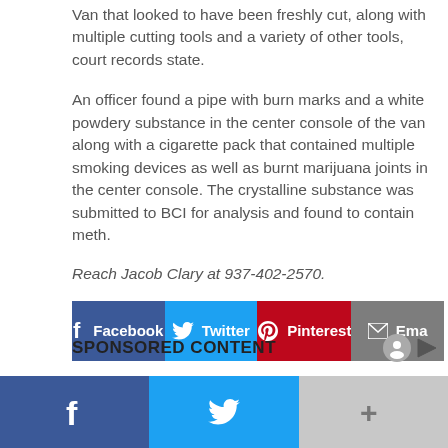Van that looked to have been freshly cut, along with multiple cutting tools and a variety of other tools, court records state.
An officer found a pipe with burn marks and a white powdery substance in the center console of the van along with a cigarette pack that contained multiple smoking devices as well as burnt marijuana joints in the center console. The crystalline substance was submitted to BCI for analysis and found to contain meth.
Reach Jacob Clary at 937-402-2570.
[Figure (infographic): Social share buttons: Facebook (blue), Twitter (cyan), Pinterest (red), Email (gray)]
SPONSORED CONTENT
[Figure (infographic): Bottom share bar with Facebook, Twitter, and more (+) buttons]